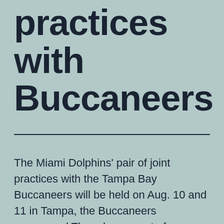practices with Buccaneers
The Miami Dolphins' pair of joint practices with the Tampa Bay Buccaneers will be held on Aug. 10 and 11 in Tampa, the Buccaneers announced Thursday as part of a release of their training camp schedule.